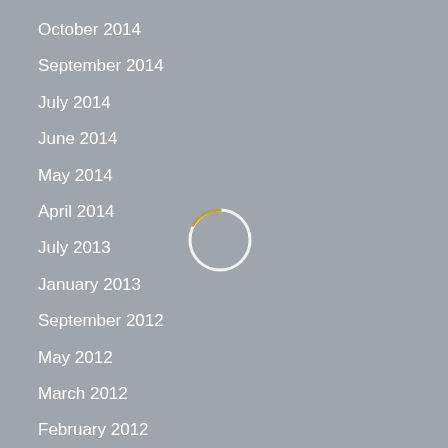October 2014
September 2014
July 2014
June 2014
May 2014
April 2014
July 2013
January 2013
September 2012
May 2012
March 2012
February 2012
January 2012
December 2011
November 2011
April 2010
October 2009
[Figure (other): Loading spinner circle icon, partially golden/yellow arc on white circle outline, on grey background]